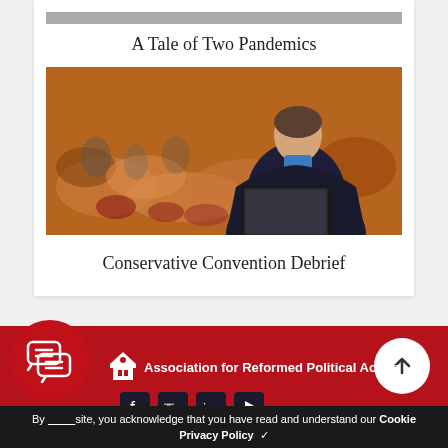A Tale of Two Pandemics
[Figure (photo): Man in dark suit seen from behind, speaking at a podium to a blurred audience in an auditorium]
Conservative Convention Debrief
[Figure (logo): Association for Reformed Political Action logo with building icon and social media icons]
By [using this] site, you acknowledge that you have read and understand our Cookie [Policy and] Privacy Policy ✓